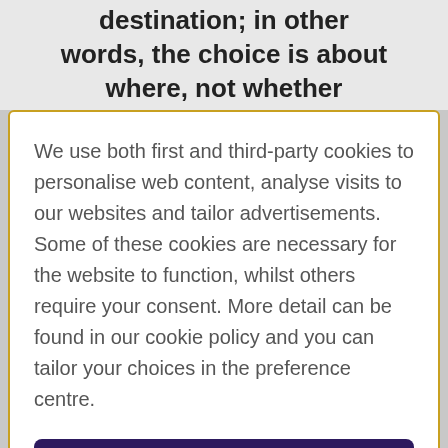destination; in other words, the choice is about where, not whether
We use both first and third-party cookies to personalise web content, analyse visits to our websites and tailor advertisements. Some of these cookies are necessary for the website to function, whilst others require your consent. More detail can be found in our cookie policy and you can tailor your choices in the preference centre.
Accept All Cookies
Cookies Settings